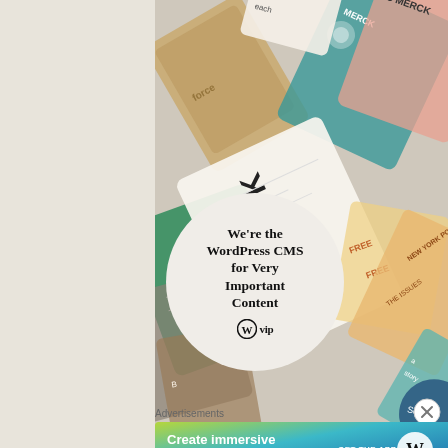[Figure (illustration): Collage of branded report covers and cards (Meta, Facebook, Merck, New York Post, and others) arranged diagonally as background, with a large white/light circle in the center containing bold serif text 'We're the WordPress CMS for Very Important Content' and the WordPress VIP logo below it.]
Advertisements
[Figure (illustration): Blue-green gradient banner advertisement reading 'Create immersive stories.' with 'GET THE APP' button and WordPress 'W' logo on the right side.]